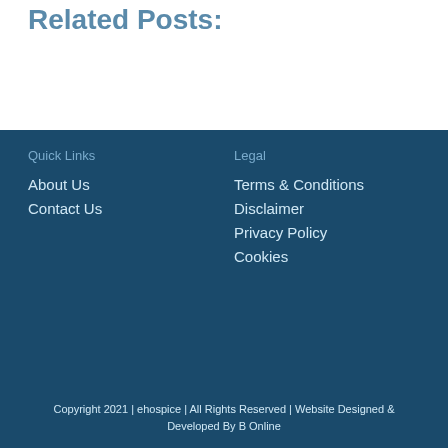Related Posts:
Quick Links
Legal
About Us
Contact Us
Terms & Conditions
Disclaimer
Privacy Policy
Cookies
Sign up to our newsletter
Copyright 2021 | ehospice | All Rights Reserved | Website Designed & Developed By B Online